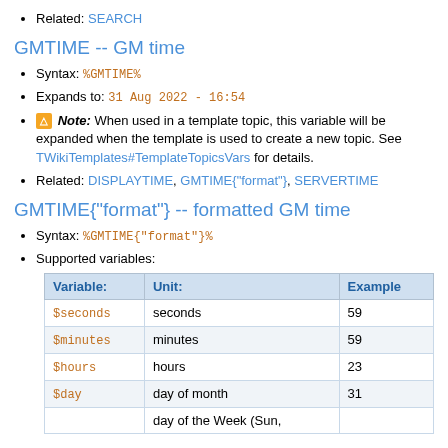Related: SEARCH
GMTIME -- GM time
Syntax: %GMTIME%
Expands to: 31 Aug 2022 - 16:54
⚠ Note: When used in a template topic, this variable will be expanded when the template is used to create a new topic. See TWikiTemplates#TemplateTopicsVars for details.
Related: DISPLAYTIME, GMTIME{"format"}, SERVERTIME
GMTIME{"format"} -- formatted GM time
Syntax: %GMTIME{"format"}%
Supported variables:
| Variable: | Unit: | Example |
| --- | --- | --- |
| $seconds | seconds | 59 |
| $minutes | minutes | 59 |
| $hours | hours | 23 |
| $day | day of month | 31 |
|  | day of the Week (Sun, |  |